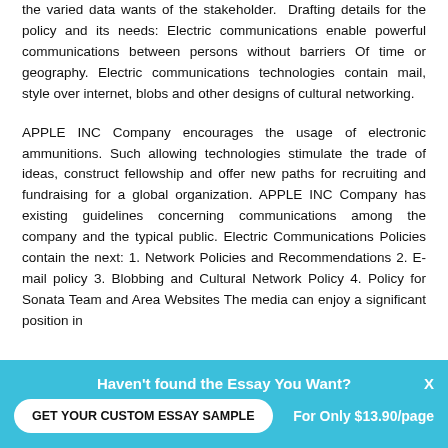the varied data wants of the stakeholder.  Drafting details for the policy and its needs: Electric communications enable powerful communications between persons without barriers Of time or geography. Electric communications technologies contain mail, style over internet, blobs and other designs of cultural networking.
APPLE INC Company encourages the usage of electronic ammunitions. Such allowing technologies stimulate the trade of ideas, construct fellowship and offer new paths for recruiting and fundraising for a global organization. APPLE INC Company has existing guidelines concerning communications among the company and the typical public. Electric Communications Policies contain the next: 1. Network Policies and Recommendations 2. E-mail policy 3. Blobbing and Cultural Network Policy 4. Policy for Sonata Team and Area Websites The media can enjoy a significant position in
Haven't found the Essay You Want?
GET YOUR CUSTOM ESSAY SAMPLE
For Only $13.90/page